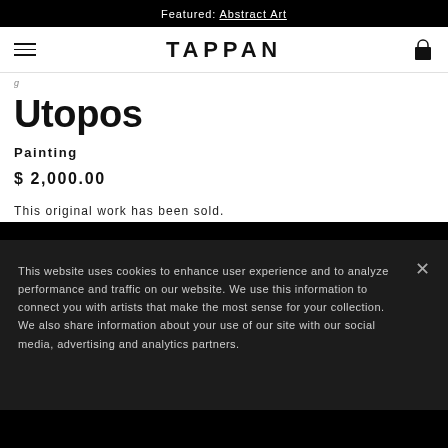Featured: Abstract Art
TAPPAN
Utopos
Painting
$ 2,000.00
This original work has been sold.
This website uses cookies to enhance user experience and to analyze performance and traffic on our website. We use this information to connect you with artists that make the most sense for your collection. We also share information about your use of our site with our social media, advertising and analytics partners.